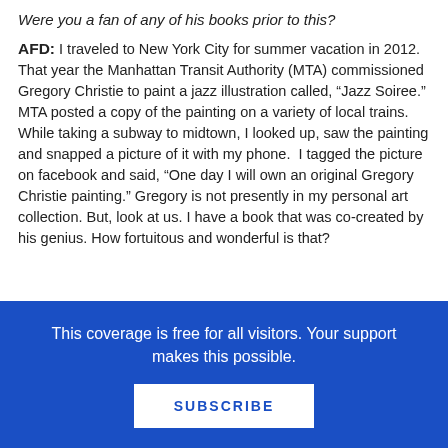Were you a fan of any of his books prior to this?
AFD: I traveled to New York City for summer vacation in 2012. That year the Manhattan Transit Authority (MTA) commissioned Gregory Christie to paint a jazz illustration called, “Jazz Soiree.” MTA posted a copy of the painting on a variety of local trains. While taking a subway to midtown, I looked up, saw the painting and snapped a picture of it with my phone. I tagged the picture on facebook and said, “One day I will own an original Gregory Christie painting.” Gregory is not presently in my personal art collection. But, look at us. I have a book that was co-created by his genius. How fortuitous and wonderful is that?
This coverage is free for all visitors. Your support makes this possible.
SUBSCRIBE